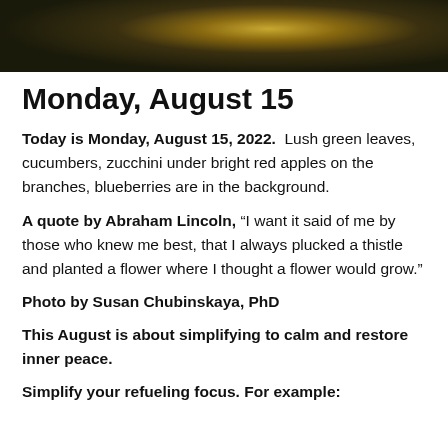[Figure (photo): Dark overhead photo of lily pads or leaves on water with golden highlights]
Monday, August 15
Today is Monday, August 15, 2022. Lush green leaves, cucumbers, zucchini under bright red apples on the branches, blueberries are in the background.
A quote by Abraham Lincoln, “I want it said of me by those who knew me best, that I always plucked a thistle and planted a flower where I thought a flower would grow.”
Photo by Susan Chubinskaya, PhD
This August is about simplifying to calm and restore inner peace.
Simplify your refueling focus. For example: